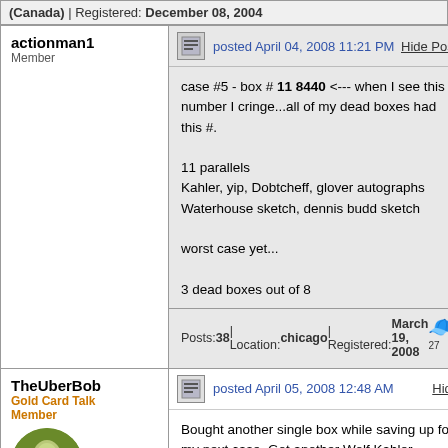(Canada) | Registered: December 08, 2004
posted April 04, 2008 11:21 PM
case #5 - box # 11 8440 <--- when I see this number I cringe...all of my dead boxes had this #.

11 parallels
Kahler, yip, Dobtcheff, glover autographs
Waterhouse sketch, dennis budd sketch

worst case yet...

3 dead boxes out of 8
Posts: 38 | Location: chicago | Registered: March 19, 2008
posted April 05, 2008 12:48 AM
Bought another single box while saving up for my next case. Got another Wolf Kahler autograph and this Mark Propst sketch:
[Figure (photo): Indiana Jones trading card sketch art showing Indiana Jones logo with stylized text 'Indiana Jones' in red/yellow on aged background]